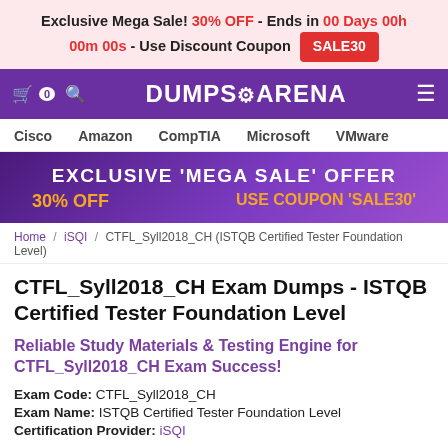Exclusive Mega Sale! 30% OFF - Ends in 00 Days 00h 00m 00s - Use Discount Coupon SALE30
[Figure (screenshot): DumpsArena website navigation bar with purple background, cart icon, search icon, DUMPS ARENA logo, and menu icon]
Cisco   Amazon   CompTIA   Microsoft   VMware
[Figure (infographic): Promotional banner with purple gradient background: EXCLUSIVE 'MEGA SALE' OFFER, 30% OFF, USE COUPON 'SALE30']
Home / iSQI / CTFL_Syll2018_CH (ISTQB Certified Tester Foundation Level)
CTFL_Syll2018_CH Exam Dumps - ISTQB Certified Tester Foundation Level
Reliable Study Materials & Testing Engine for CTFL_Syll2018_CH Exam Success!
Exam Code: CTFL_Syll2018_CH
Exam Name: ISTQB Certified Tester Foundation Level
Certification Provider: iSQI